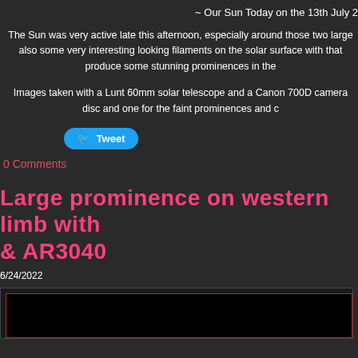~ Our Sun Today on the 13th July 2
The Sun was very active late this afternoon, especially around those two large also some very interesting looking filaments on the solar surface with that produce some stunning prominences in the
Images taken with a Lunt 60mm solar telescope and a Canon 700D camera disc and one for the faint prominences and c
[Figure (other): Twitter Tweet button]
0 Comments
Large prominence on western limb with & AR3040
6/24/2022
[Figure (photo): Solar telescope image with red border frame, mostly black]